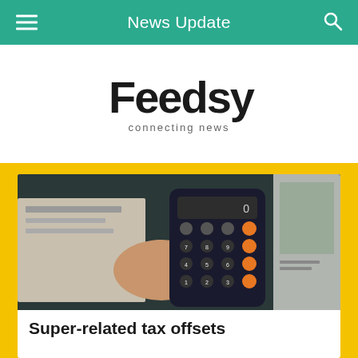News Update
[Figure (logo): Feedsy logo with tagline 'connecting news']
[Figure (photo): A hand holding a calculator with orange buttons over an open notebook, with a plant partially visible on the right]
Super-related tax offsets